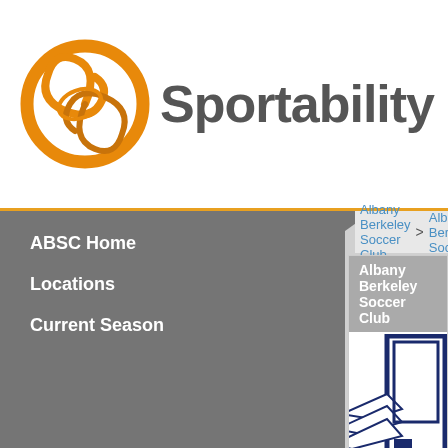[Figure (logo): Sportability website header with orange swirl logo and 'Sportability' text in gray]
ABSC Home
Locations
Current Season
Albany Berkeley Soccer Club > Albany Berkeley Soc...
Albany Berkeley Soccer Club
[Figure (logo): Albany Berkeley Soccer Club partial logo, blue and white, showing wing/foot graphic]